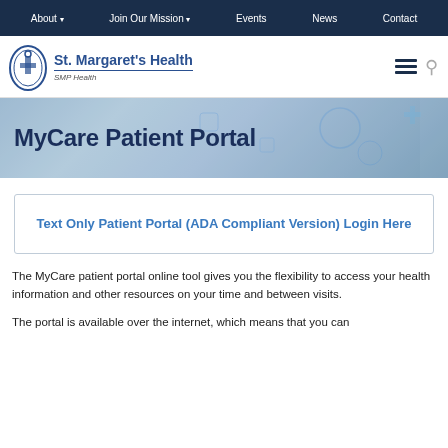About | Join Our Mission | Events | News | Contact
[Figure (logo): St. Margaret's Health logo with circular emblem, text 'St. Margaret's Health' and subtext 'SMP Health']
[Figure (photo): Hero banner with medical theme background showing 'MyCare Patient Portal' title]
MyCare Patient Portal
Text Only Patient Portal (ADA Compliant Version) Login Here
The MyCare patient portal online tool gives you the flexibility to access your health information and other resources on your time and between visits.
The portal is available over the internet, which means that you can